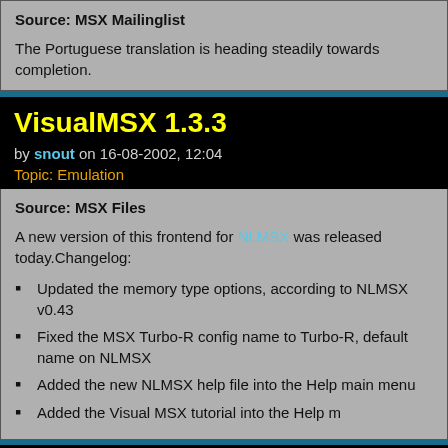Source: MSX Mailinglist
The Portuguese translation is heading steadily towards completion.
VisualMSX 1.3.3
by snout on 16-08-2002, 12:04
Topic: Emulation
Source: MSX Files
A new version of this frontend for NLMSX was released today.Changelog:
Updated the memory type options, according to NLMSX v0.43
Fixed the MSX Turbo-R config name to Turbo-R, default name on NLMSX
Added the new NLMSX help file into the Help main menu
Added the Visual MSX tutorial into the Help m
ExecROM 1.2